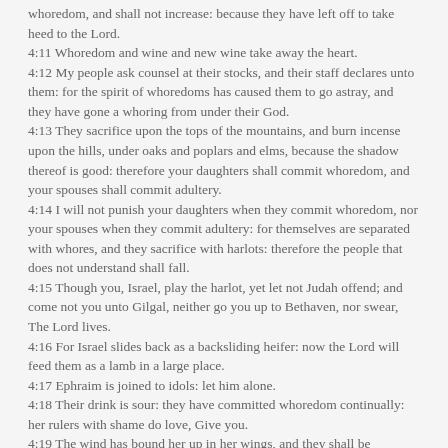whoredom, and shall not increase: because they have left off to take heed to the Lord.
4:11 Whoredom and wine and new wine take away the heart.
4:12 My people ask counsel at their stocks, and their staff declares unto them: for the spirit of whoredoms has caused them to go astray, and they have gone a whoring from under their God.
4:13 They sacrifice upon the tops of the mountains, and burn incense upon the hills, under oaks and poplars and elms, because the shadow thereof is good: therefore your daughters shall commit whoredom, and your spouses shall commit adultery.
4:14 I will not punish your daughters when they commit whoredom, nor your spouses when they commit adultery: for themselves are separated with whores, and they sacrifice with harlots: therefore the people that does not understand shall fall.
4:15 Though you, Israel, play the harlot, yet let not Judah offend; and come not you unto Gilgal, neither go you up to Bethaven, nor swear, The Lord lives.
4:16 For Israel slides back as a backsliding heifer: now the Lord will feed them as a lamb in a large place.
4:17 Ephraim is joined to idols: let him alone.
4:18 Their drink is sour: they have committed whoredom continually: her rulers with shame do love, Give you.
4:19 The wind has bound her up in her wings, and they shall be ashamed because of their sacrifices.